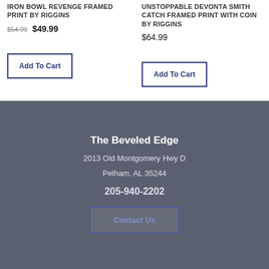IRON BOWL REVENGE FRAMED PRINT BY RIGGINS
$54.99 $49.99
Add To Cart
UNSTOPPABLE DEVONTA SMITH CATCH FRAMED PRINT WITH COIN BY RIGGINS
$64.99
Add To Cart
The Beveled Edge
2013 Old Montgomery Hwy D
Pelham, AL 35244
205-940-2202
Contact Us